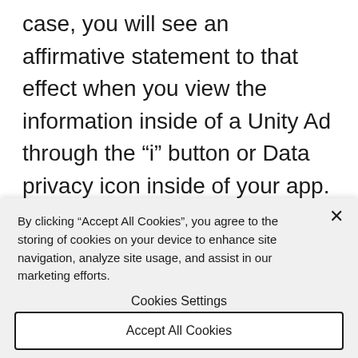case, you will see an affirmative statement to that effect when you view the information inside of a Unity Ad through the “i” button or Data privacy icon inside of your app. You may still see ads from the partners listed below, but they will not be based on your personal data. Additionally, you may have opted-out of
By clicking “Accept All Cookies”, you agree to the storing of cookies on your device to enhance site navigation, analyze site usage, and assist in our marketing efforts.
Cookies Settings
Accept All Cookies